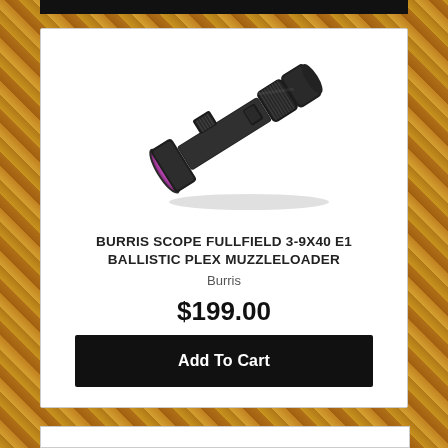[Figure (photo): Product image of a Burris Scope Fullfield 3-9x40 E1 Ballistic Plex Muzzleloader rifle scope, black with purple/magenta lens coating, angled diagonally on white background]
BURRIS SCOPE FULLFIELD 3-9X40 E1 BALLISTIC PLEX MUZZLELOADER
Burris
$199.00
Add To Cart